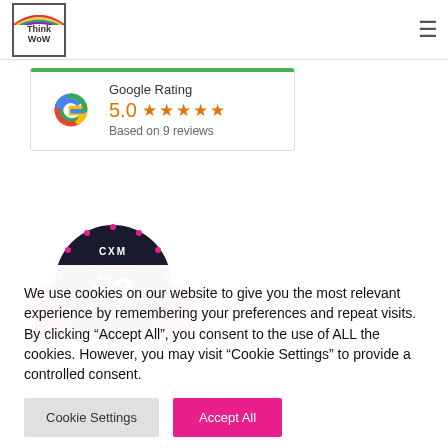[Figure (logo): Think WoW logo — colorful rainbow arc above text 'Think WoW' in a bordered box]
[Figure (other): Hamburger menu icon (three horizontal lines)]
[Figure (infographic): Google Rating card showing 5.0 stars rating based on 9 reviews with Google 'G' logo]
[Figure (illustration): CXM CX Stars #3 2021 badge — dark circular badge with pink/magenta ribbon and stars]
We use cookies on our website to give you the most relevant experience by remembering your preferences and repeat visits. By clicking "Accept All", you consent to the use of ALL the cookies. However, you may visit "Cookie Settings" to provide a controlled consent.
Cookie Settings
Accept All